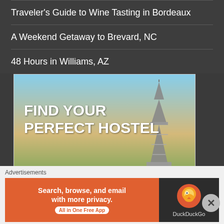Traveler's Guide to Wine Tasting in Bordeaux
A Weekend Getaway to Brevard, NC
48 Hours in Williams, AZ
[Figure (screenshot): Hostelworld advertisement showing Paris skyline with Eiffel Tower, headline 'FIND YOUR PERFECT HOSTEL', a search box reading 'Where do you want to go?', an orange SEARCH button, and the Hostelworld logo on an orange footer bar.]
Advertisements
[Figure (screenshot): DuckDuckGo advertisement with orange left panel reading 'Search, browse, and email with more privacy. All in One Free App' and dark right panel with DuckDuckGo duck logo and brand name.]